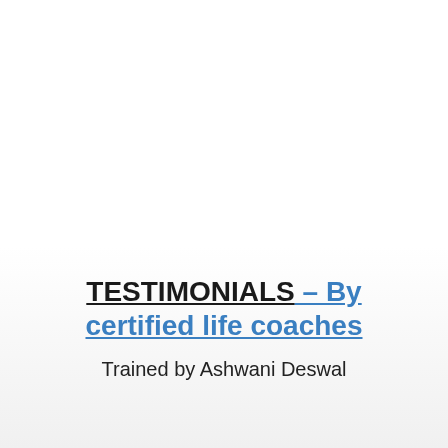TESTIMONIALS – By certified life coaches
Trained by Ashwani Deswal